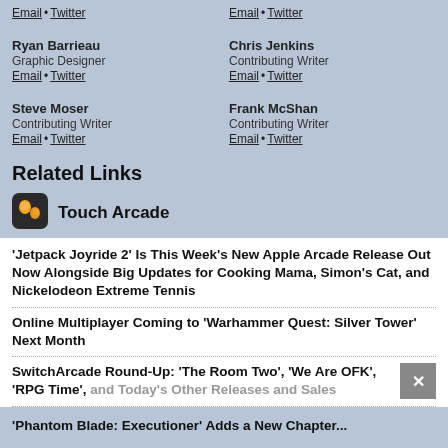Ryan Barrieau
Graphic Designer
Email • Twitter
Chris Jenkins
Contributing Writer
Email • Twitter
Steve Moser
Contributing Writer
Email • Twitter
Frank McShan
Contributing Writer
Email • Twitter
Related Links
[Figure (logo): Touch Arcade app icon - orange/yellow figure with dark background]
Touch Arcade
'Jetpack Joyride 2' Is This Week's New Apple Arcade Release Out Now Alongside Big Updates for Cooking Mama, Simon's Cat, and Nickelodeon Extreme Tennis
Online Multiplayer Coming to 'Warhammer Quest: Silver Tower' Next Month
SwitchArcade Round-Up: 'The Room Two', 'We Are OFK', 'RPG Time', and Today's Other Releases and Sales
'Phantom Blade: Executioner' Adds a New Chapter...